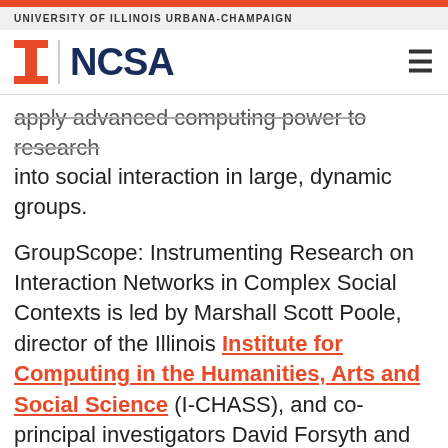UNIVERSITY OF ILLINOIS URBANA-CHAMPAIGN
[Figure (logo): University of Illinois block I logo and NCSA wordmark with navigation hamburger menu]
apply advanced computing power to research into social interaction in large, dynamic groups.
GroupScope: Instrumenting Research on Interaction Networks in Complex Social Contexts is led by Marshall Scott Poole, director of the Illinois Institute for Computing in the Humanities, Arts and Social Science (I-CHASS), and co-principal investigators David Forsyth and Mark Hasegawa-Johnson of the University of Illinois, Noshir Contractor of Northwestern University, and Feniosky Pena-Mora of Columbia University. I-CHASS